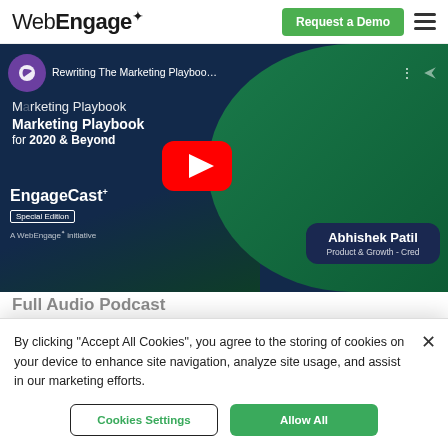WebEngage | Request a Demo
[Figure (screenshot): WebEngage EngageCast video thumbnail: Rewriting The Marketing Playbook for 2020 & Beyond, featuring Abhishek Patil, Product & Growth - Cred. YouTube play button overlay. Special Edition. A WebEngage initiative.]
Full Audio Podcast
By clicking "Accept All Cookies", you agree to the storing of cookies on your device to enhance site navigation, analyze site usage, and assist in our marketing efforts.
Cookies Settings
Allow All